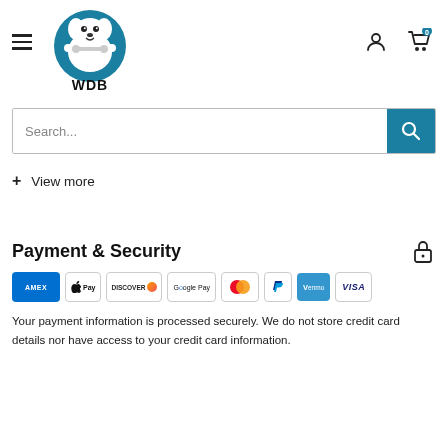[Figure (logo): WDB dog logo with cartoon dog holding a bone, teal circular background, text WDB below]
[Figure (screenshot): Search bar with Search... placeholder and teal search button]
+ View more
Payment & Security
[Figure (infographic): Payment method icons: AMEX, Apple Pay, Discover, Google Pay, Mastercard, PayPal, Venmo, Visa]
Your payment information is processed securely. We do not store credit card details nor have access to your credit card information.